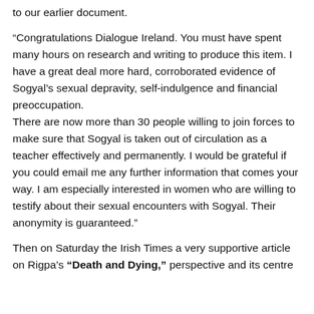to our earlier document.
“Congratulations Dialogue Ireland. You must have spent many hours on research and writing to produce this item. I have a great deal more hard, corroborated evidence of Sogyal’s sexual depravity, self-indulgence and financial preoccupation.
There are now more than 30 people willing to join forces to make sure that Sogyal is taken out of circulation as a teacher effectively and permanently. I would be grateful if you could email me any further information that comes your way. I am especially interested in women who are willing to testify about their sexual encounters with Sogyal. Their anonymity is guaranteed.”
Then on Saturday the Irish Times a very supportive article on Rigpa’s “Death and Dying,” perspective and its centre in West Cork...